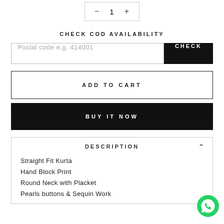— 1 +
CHECK COD AVAILABILITY
Postal code e.g. 414001
CHECK
ADD TO CART
BUY IT NOW
DESCRIPTION
Straight Fit Kurta
Hand Block Print
Round Neck with Placket
Pearls buttons & Sequin Work